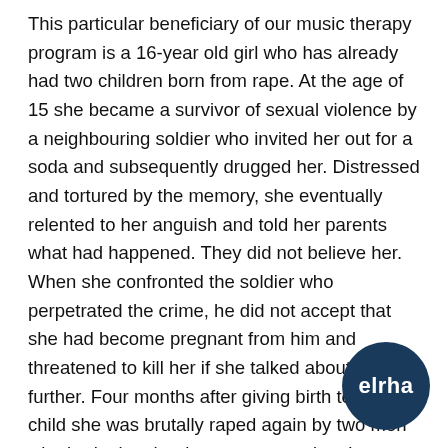This particular beneficiary of our music therapy program is a 16-year old girl who has already had two children born from rape. At the age of 15 she became a survivor of sexual violence by a neighbouring soldier who invited her out for a soda and subsequently drugged her. Distressed and tortured by the memory, she eventually relented to her anguish and told her parents what had happened. They did not believe her. When she confronted the soldier who perpetrated the crime, he did not accept that she had become pregnant from him and threatened to kill her if she talked about it any further. Four months after giving birth to her first child she was brutally raped again by two men who broke into her home one evening. It was at this point that she was afforded the opportunity to access Panzi Hospital where she currently resides in their aftercare facility, Maison Dorcas, along with her second child, in order to physically, emotionally and
[Figure (logo): elrha logo — white text 'elrha' on dark navy circular background, bottom right corner]